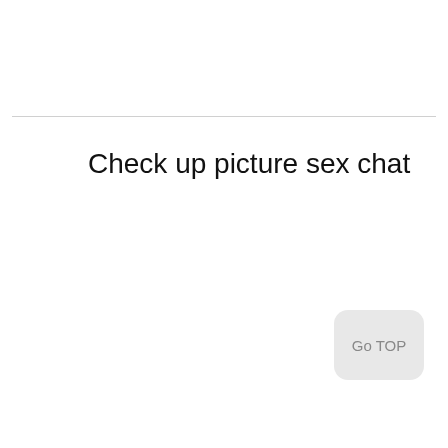Check up picture sex chat
Go TOP